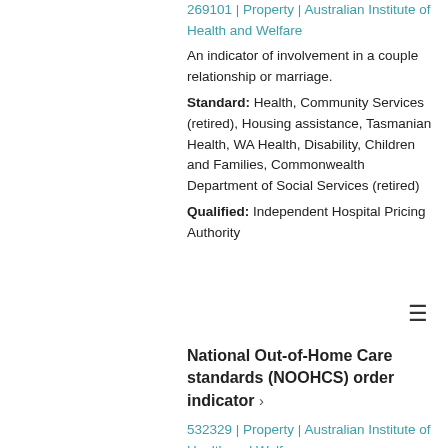269101 | Property | Australian Institute of Health and Welfare
An indicator of involvement in a couple relationship or marriage.
Standard: Health, Community Services (retired), Housing assistance, Tasmanian Health, WA Health, Disability, Children and Families, Commonwealth Department of Social Services (retired)
Qualified: Independent Hospital Pricing Authority
National Out-of-Home Care standards (NOOHCS) order indicator ›
532329 | Property | Australian Institute of Health and Welfare
An indicator of whether an order falls